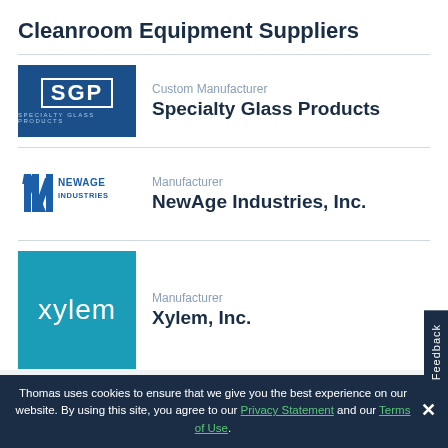Cleanroom Equipment Suppliers
Custom Manufacturer
Specialty Glass Products
[Figure (logo): SGP Specialty Glass Products logo — dark blue rectangle with white SGP letters and white border]
Manufacturer
NewAge Industries, Inc.
[Figure (logo): NewAge Industries logo — blue stylized N and bars with NewAge Industries text]
Manufacturer
Xylem, Inc.
[Figure (logo): Xylem Inc logo — teal/blue square with white xylem text]
White Papers & Case Studies
Thomas uses cookies to ensure that we give you the best experience on our website. By using this site, you agree to our Privacy Statement and our Terms of Use.